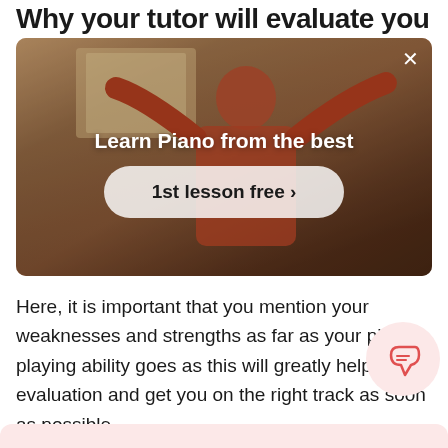Why your tutor will evaluate you
[Figure (screenshot): Video overlay showing a person in a red top with arms raised, with text 'Learn Piano from the best' and a button '1st lesson free >' on a warm-toned background with a close (X) button in the top right.]
Here, it is important that you mention your weaknesses and strengths as far as your piano playing ability goes as this will greatly help the evaluation and get you on the right track as soon as possible.